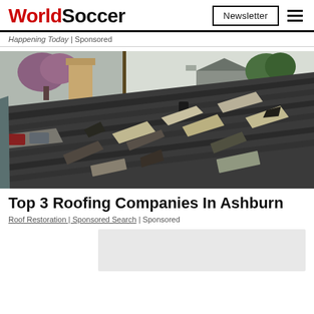WorldSoccer | Newsletter
Happening Today | Sponsored
[Figure (photo): Damaged roof with lifted and broken asphalt shingles, a brick chimney visible on the left, residential neighborhood in the background with trees and houses.]
Top 3 Roofing Companies In Ashburn
Roof Restoration | Sponsored Search | Sponsored